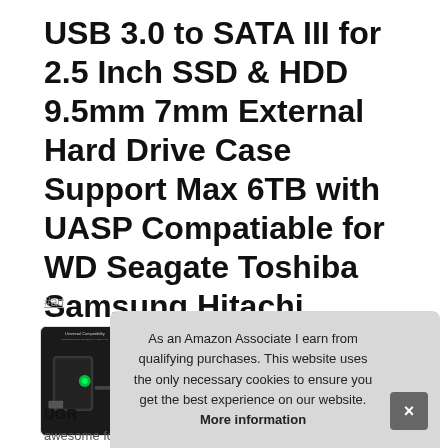USB 3.0 to SATA III for 2.5 Inch SSD & HDD 9.5mm 7mm External Hard Drive Case Support Max 6TB with UASP Compatiable for WD Seagate Toshiba Samsung Hitachi
#ad
[Figure (photo): Four product thumbnails showing the external hard drive case: Universal Compatibility, USB 3.0 with UASP, Various Application, Reliable & Solid]
UGR
awesome for booting up old HDD/SSD and recovering
As an Amazon Associate I earn from qualifying purchases. This website uses the only necessary cookies to ensure you get the best experience on our website. More information